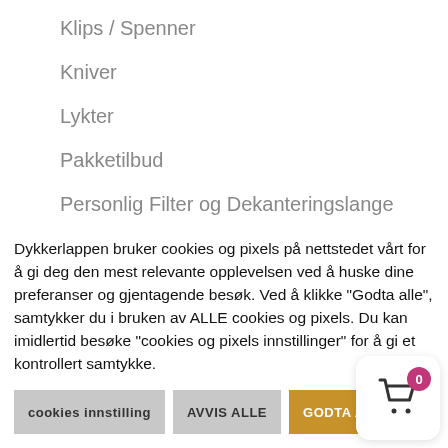Klips / Spenner
Kniver
Lykter
Pakketilbud
Personlig Filter og Dekanteringslange
Pusteventiler
Slanger
Spools / SMB's
Tilbehør
Dykkerlappen bruker cookies og pixels på nettstedet vårt for å gi deg den mest relevante opplevelsen ved å huske dine preferanser og gjentagende besøk. Ved å klikke "Godta alle", samtykker du i bruken av ALLE cookies og pixels. Du kan imidlertid besøke "cookies og pixels innstillinger" for å gi et kontrollert samtykke.
cookies innstilling | AVVIS ALLE | GODTA ALLE